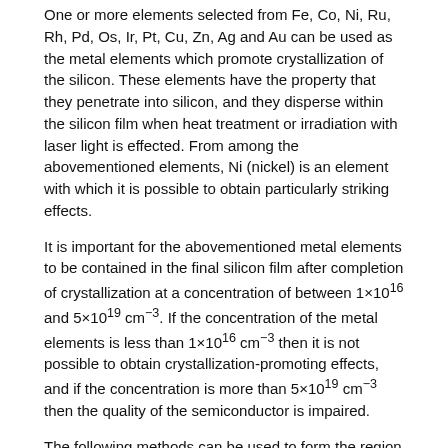One or more elements selected from Fe, Co, Ni, Ru, Rh, Pd, Os, Ir, Pt, Cu, Zn, Ag and Au can be used as the metal elements which promote crystallization of the silicon. These elements have the property that they penetrate into silicon, and they disperse within the silicon film when heat treatment or irradiation with laser light is effected. From among the abovementioned elements, Ni (nickel) is an element with which it is possible to obtain particularly striking effects.
It is important for the abovementioned metal elements to be contained in the final silicon film after completion of crystallization at a concentration of between 1×10^16 and 5×10^19 cm^−3. If the concentration of the metal elements is less than 1×10^16 cm^−3 then it is not possible to obtain crystallization-promoting effects, and if the concentration is more than 5×10^19 cm^−3 then the quality of the semiconductor is impaired.
The following methods can be used to form the region which can be regarded as being effectively monocrystalline within the silicon thin film. Firstly, an amorphous silicon film is formed on a glass substrate or a quartz substrate, after which a film containing nickel is formed on the surface of the amorphous silicon film. The film containing nickel may be one in which an extremely thin nickel film is formed by the sputtering method, for example, or a method may be adopted whereby the nickel element is disposed in contact with the surface of the amorphous silicon film by applying a solution containing nickel onto the surface of the amorphous